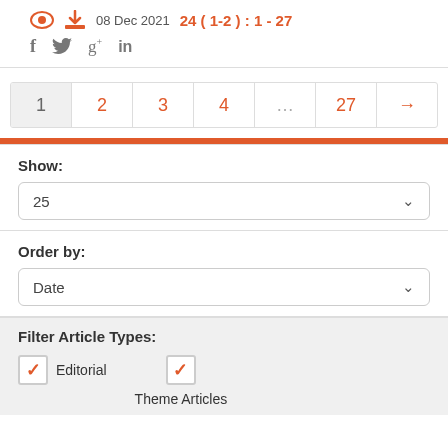08 Dec 2021  24(1-2) : 1 - 27
Show: 25
Order by: Date
Filter Article Types: Editorial, Theme Articles